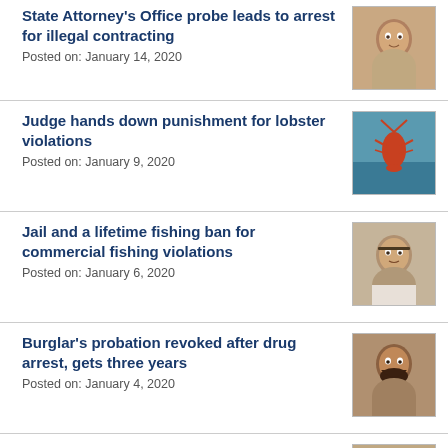State Attorney's Office probe leads to arrest for illegal contracting
Posted on: January 14, 2020
Judge hands down punishment for lobster violations
Posted on: January 9, 2020
Jail and a lifetime fishing ban for commercial fishing violations
Posted on: January 6, 2020
Burglar's probation revoked after drug arrest, gets three years
Posted on: January 4, 2020
Three drug deals translate into three-year prison sentence
Posted on: January 3, 2020